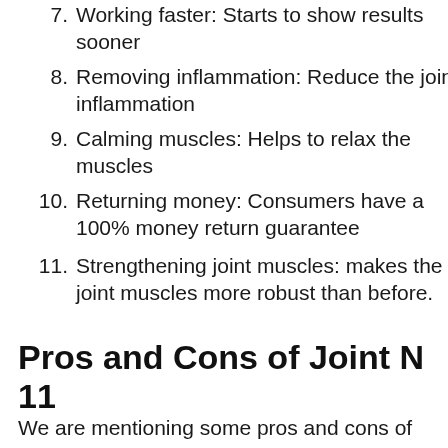7. Working faster: Starts to show results sooner
8. Removing inflammation: Reduce the joint inflammation
9. Calming muscles: Helps to relax the muscles
10. Returning money: Consumers have a 100% money return guarantee
11. Strengthening joint muscles: makes the joint muscles more robust than before.
Pros and Cons of Joint N 11
We are mentioning some pros and cons of joint n 11. It's better to know about these